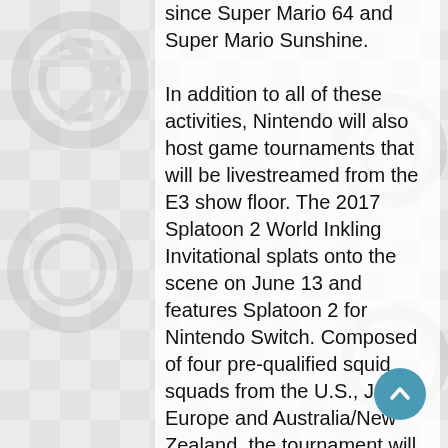since Super Mario 64 and Super Mario Sunshine.
In addition to all of these activities, Nintendo will also host game tournaments that will be livestreamed from the E3 show floor. The 2017 Splatoon 2 World Inkling Invitational splats onto the scene on June 13 and features Splatoon 2 for Nintendo Switch. Composed of four pre-qualified squid squads from the U.S., Japan, Europe and Australia/New Zealand, the tournament will find teams participating in the first-ever international Splatoon 2competition. The second tournament, the 2017 ARMS Open Invitational, takes place on June 14 and will feature Nintendo's upcoming ARMS fighting game for Nintendo Switch.